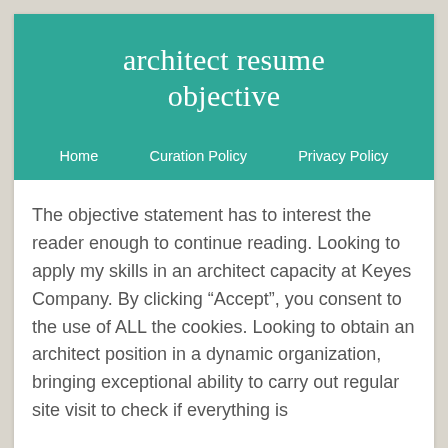architect resume objective
Home   Curation Policy   Privacy Policy
The objective statement has to interest the reader enough to continue reading. Looking to apply my skills in an architect capacity at Keyes Company. By clicking “Accept”, you consent to the use of ALL the cookies. Looking to obtain an architect position in a dynamic organization, bringing exceptional ability to carry out regular site visit to check if everything is